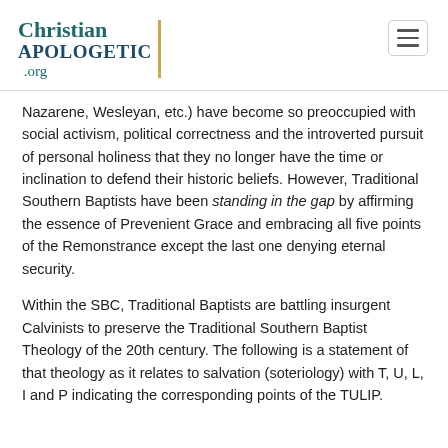Christian APOLOGETIC .org
Nazarene, Wesleyan, etc.) have become so preoccupied with social activism, political correctness and the introverted pursuit of personal holiness that they no longer have the time or inclination to defend their historic beliefs. However, Traditional Southern Baptists have been standing in the gap by affirming the essence of Prevenient Grace and embracing all five points of the Remonstrance except the last one denying eternal security.
Within the SBC, Traditional Baptists are battling insurgent Calvinists to preserve the Traditional Southern Baptist Theology of the 20th century. The following is a statement of that theology as it relates to salvation (soteriology) with T, U, L, I and P indicating the corresponding points of the TULIP.